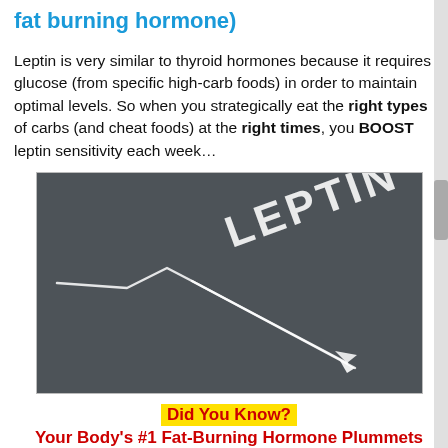fat burning hormone)
Leptin is very similar to thyroid hormones because it requires glucose (from specific high-carb foods) in order to maintain optimal levels. So when you strategically eat the right types of carbs (and cheat foods) at the right times, you BOOST leptin sensitivity each week…
[Figure (illustration): Chalkboard image showing the word LEPTIN written diagonally with a downward arrow, and a chalk line graph showing a dip then sharp decline. White chalk text on dark grey/slate background.]
Did You Know?
Your Body's #1 Fat-Burning Hormone Plummets